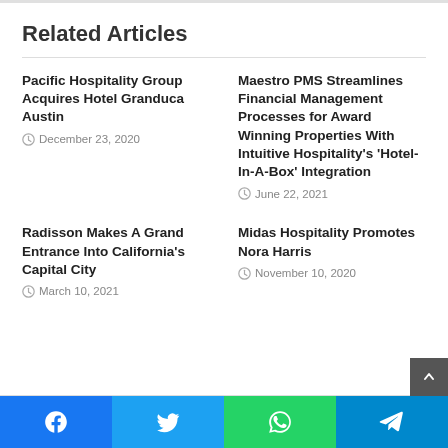Related Articles
Pacific Hospitality Group Acquires Hotel Granduca Austin
December 23, 2020
Maestro PMS Streamlines Financial Management Processes for Award Winning Properties With Intuitive Hospitality's 'Hotel-In-A-Box' Integration
June 22, 2021
Radisson Makes A Grand Entrance Into California's Capital City
March 10, 2021
Midas Hospitality Promotes Nora Harris
November 10, 2020